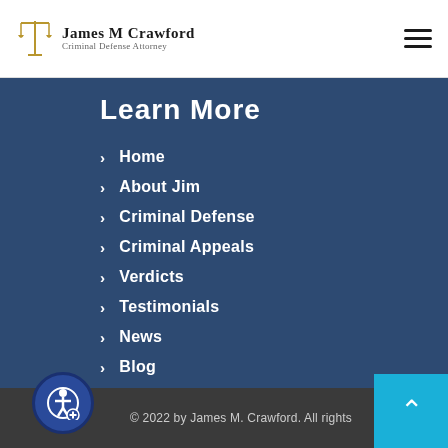James M Crawford Criminal Defense Attorney
Learn More
Home
About Jim
Criminal Defense
Criminal Appeals
Verdicts
Testimonials
News
Blog
Contact
© 2022 by James M. Crawford. All rights